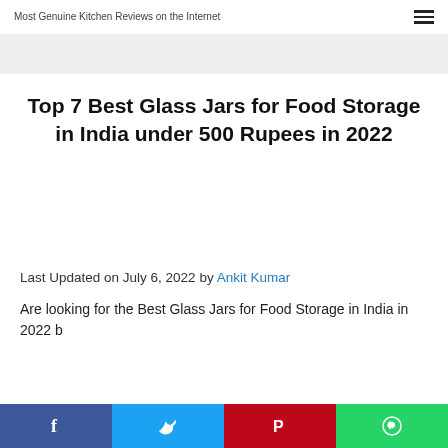Most Genuine Kitchen Reviews on the Internet
Top 7 Best Glass Jars for Food Storage in India under 500 Rupees in 2022
[Figure (other): Advertisement banner placeholder]
Last Updated on July 6, 2022 by Ankit Kumar
Are looking for the Best Glass Jars for Food Storage in India in 2022 b…
[Figure (other): Social share bar with Facebook, Twitter, Pinterest, WhatsApp buttons]